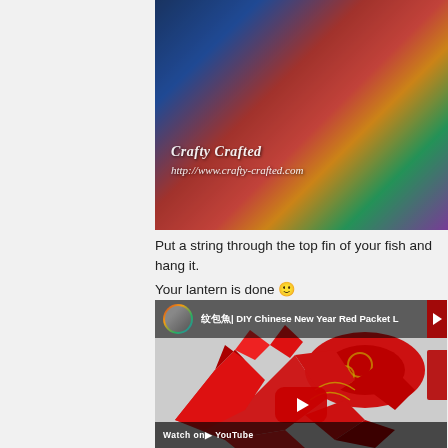[Figure (photo): Photo of a decorative paper fish lantern made from colorful origami paper being held up, with Crafty Crafted watermark text and URL http://www.crafty-crafted.com]
Put a string through the top fin of your fish and hang it.
Your lantern is done 🙂
[Figure (screenshot): YouTube video thumbnail showing a DIY Chinese New Year Red Packet fish/koi made from red paper with gold patterns. Video title: '红包鱼| DIY Chinese New Year Red Packet [...]'. Red YouTube play button visible in center. Channel avatar in top left corner.]